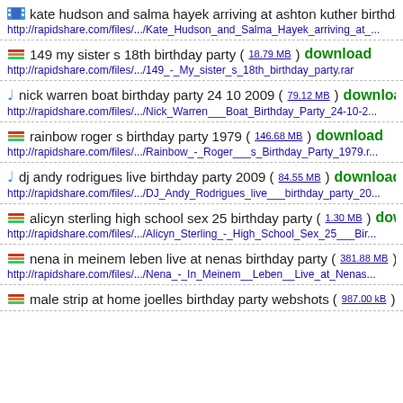kate hudson and salma hayek arriving at ashton kuther birthday par...
http://rapidshare.com/files/.../Kate_Hudson_and_Salma_Hayek_arriving_at_...
149 my sister s 18th birthday party (18.79 MB) download
http://rapidshare.com/files/.../149_-_My_sister_s_18th_birthday_party.rar
nick warren boat birthday party 24 10 2009 (79.12 MB) download
http://rapidshare.com/files/.../Nick_Warren___Boat_Birthday_Party_24-10-2...
rainbow roger s birthday party 1979 (146.68 MB) download
http://rapidshare.com/files/.../Rainbow_-_Roger___s_Birthday_Party_1979....
dj andy rodrigues live birthday party 2009 (84.55 MB) download
http://rapidshare.com/files/.../DJ_Andy_Rodrigues_live___birthday_party_20...
alicyn sterling high school sex 25 birthday party (1.30 MB) download
http://rapidshare.com/files/.../Alicyn_Sterling_-_High_School_Sex_25___Bir...
nena in meinem leben live at nenas birthday party (381.88 MB) download
http://rapidshare.com/files/.../Nena_-_In_Meinem__Leben__Live_at_Nenas...
male strip at home joelles birthday party webshots (987.00 kB) download